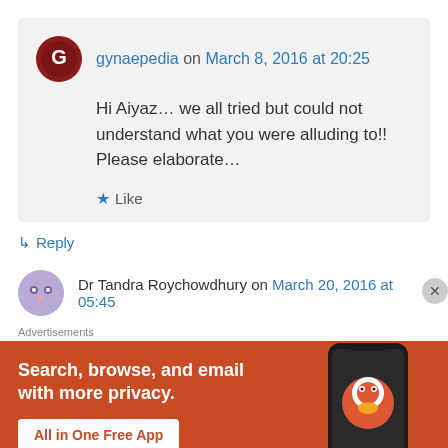gynaepedia on March 8, 2016 at 20:25
Hi Aiyaz… we all tried but could not understand what you were alluding to!! Please elaborate…
★ Like
↳ Reply
Dr Tandra Roychowdhury on March 20, 2016 at 05:45
Advertisements
[Figure (screenshot): DuckDuckGo advertisement banner with text 'Search, browse, and email with more privacy. All in One Free App' on orange background with phone image showing DuckDuckGo logo]